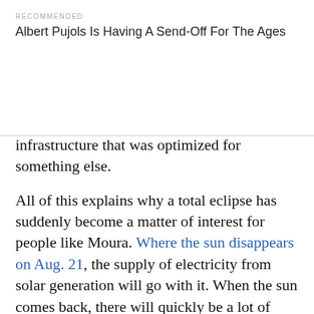RECOMMENDED
Albert Pujols Is Having A Send-Off For The Ages
infrastructure that was optimized for something else.
All of this explains why a total eclipse has suddenly become a matter of interest for people like Moura. Where the sun disappears on Aug. 21, the supply of electricity from solar generation will go with it. When the sun comes back, there will quickly be a lot of supply added. It’s crucial to make sure those changes don’t upset the balance between supply and demand. Ten years ago, Moura told me, nobody would have thought of this event as even a possible risk. But now, there’s enough solar that grid controllers, utility companies and organizations like NERC are paying attention. Moura was part of a team behind a white paper that NERC published in April outlining the results of a series of computer simulations showing